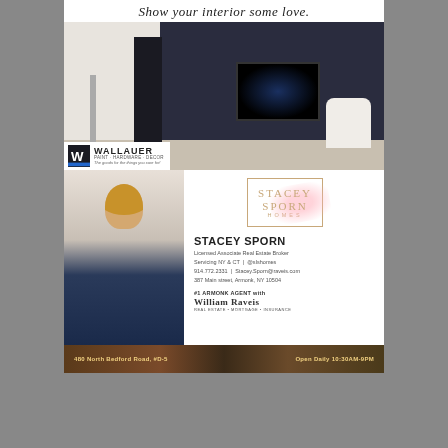Show your interior some love.
[Figure (photo): Interior living room photo showing dark accent wall with TV, bookshelf, lamp and white chair, with Wallauer paint/hardware/decor logo overlay]
[Figure (photo): Portrait photo of Stacey Sporn, smiling blonde woman in navy blouse]
[Figure (logo): Stacey Sporn Homes logo in gold with pink brush stroke]
STACEY SPORN
Licensed Associate Real Estate Broker
Servicing NY & CT | @sIshomes
914.772.2331 | Stacey.Sporn@raveis.com
387 Main street, Armonk, NY 10504
#1 ARMONK AGENT with
WILLIAM RAVEIS
REAL ESTATE • MORTGAGE • INSURANCE
480 North Bedford Road, #D-5    Open Daily 10:30AM-9PM